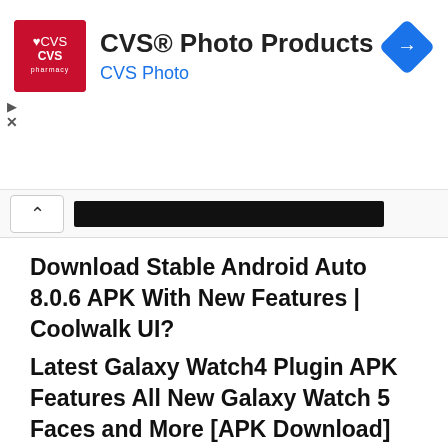[Figure (screenshot): CVS Pharmacy logo - red square with heart and CVS text]
CVS® Photo Products
CVS Photo
[Figure (illustration): Blue diamond navigation/directions icon with right-turn arrow]
[Figure (screenshot): UI bar with up-arrow button and redacted/blacked-out text bar]
Download Stable Android Auto 8.0.6 APK With New Features | Coolwalk UI?
Latest Galaxy Watch4 Plugin APK Features All New Galaxy Watch 5 Faces and More [APK Download]